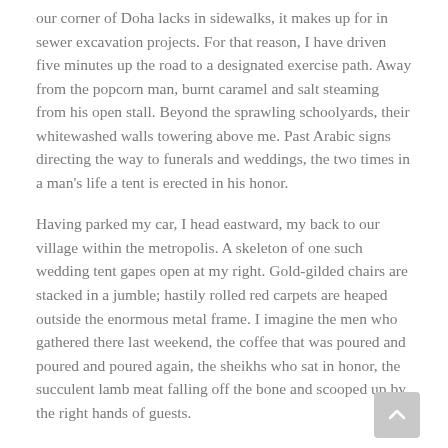our corner of Doha lacks in sidewalks, it makes up for in sewer excavation projects. For that reason, I have driven five minutes up the road to a designated exercise path. Away from the popcorn man, burnt caramel and salt steaming from his open stall. Beyond the sprawling schoolyards, their whitewashed walls towering above me. Past Arabic signs directing the way to funerals and weddings, the two times in a man's life a tent is erected in his honor.
Having parked my car, I head eastward, my back to our village within the metropolis. A skeleton of one such wedding tent gapes open at my right. Gold-gilded chairs are stacked in a jumble; hastily rolled red carpets are heaped outside the enormous metal frame. I imagine the men who gathered there last weekend, the coffee that was poured and poured and poured again, the sheikhs who sat in honor, the succulent lamb meat falling off the bone and scooped up by the right hands of guests.
I step out of my daydream and finally face the desert, that friend I sometimes mistake as foe. There is a light